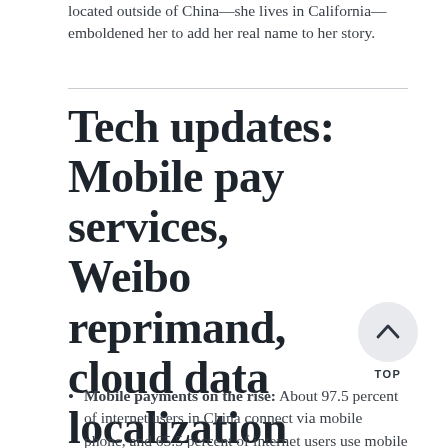located outside of China—she lives in California—emboldened her to add her real name to her story.
Tech updates: Mobile pay services, Weibo reprimand, cloud data localization
Mobile payments on the rise: About 97.5 percent of internet users in China connect via mobile phone, and 65.5 percent of internet users use mobile payments for nonfinancial products